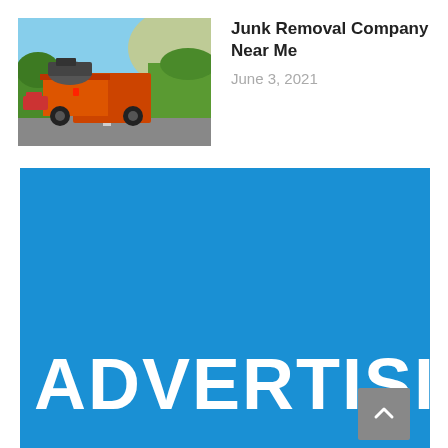[Figure (photo): A flatbed truck loaded with debris/junk driving on a road, viewed from behind, with green trees in background and warm sunlight]
Junk Removal Company Near Me
June 3, 2021
[Figure (infographic): Blue advertising banner with white bold text reading ADVERTISING (partially visible, cut off at right edge)]